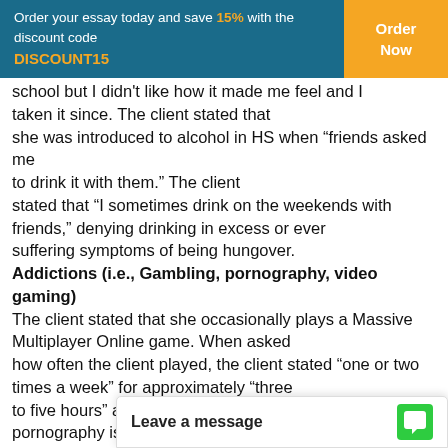Order your essay today and save 15% with the discount code DISCOUNT15 | Order Now
school but I didn't like how it made me feel and I taken it since. The client stated that she was introduced to alcohol in HS when “friends asked me to drink it with them.” The client stated that “I sometimes drink on the weekends with friends,” denying drinking in excess or ever suffering symptoms of being hungover.
Addictions (i.e., Gambling, pornography, video gaming)
The client stated that she occasionally plays a Massive Multiplayer Online game. When asked how often the client played, the client stated “one or two times a week” for approximately “three to five hours” at a time. The client denied gambling or pornography issues.
© 2015. Grand Canyon University. All Rights Reserved.
Medical/Mental Health Hx/Hospitalizations:
Any past mental health history or hospitalizations denied.
Abuse/Trauma:
The client denied any cu... in passing that she did g...